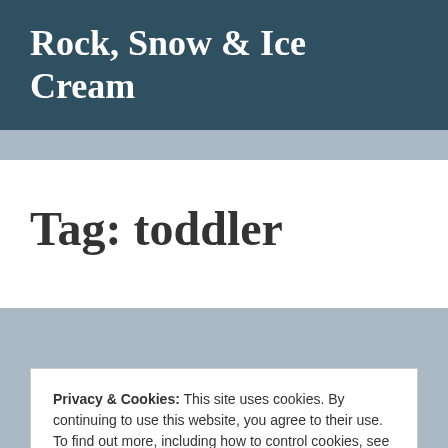Rock, Snow & Ice Cream
Tag: toddler
Privacy & Cookies: This site uses cookies. By continuing to use this website, you agree to their use.
To find out more, including how to control cookies, see here:
Cookie Policy
Close and accept
SEPTEMBER 28, 2017 • Posted in ADVENTURE